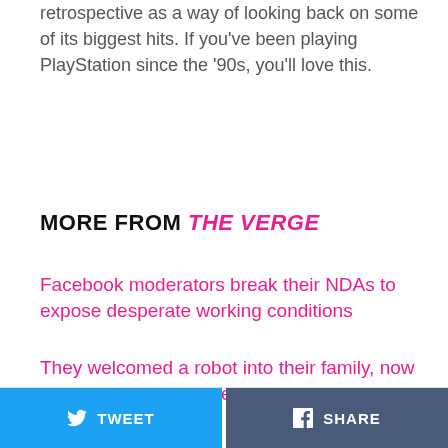retrospective as a way of looking back on some of its biggest hits. If you've been playing PlayStation since the '90s, you'll love this.
MORE FROM THE VERGE
Facebook moderators break their NDAs to expose desperate working conditions
They welcomed a robot into their family, now they're mourning its death
Facebook's Calibra is a secret weapon for monetizing its new cryptocurrency